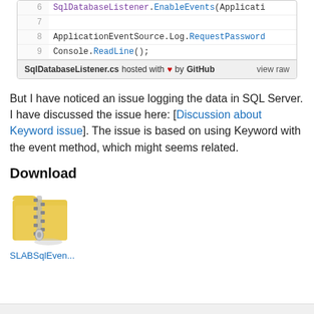[Figure (screenshot): Code snippet showing lines 6-9 of SqlDatabaseListener.cs with GitHub footer bar. Line 6: SqlDatabaseListener.EnableEvents(Applicati... Line 7: (blank). Line 8: ApplicationEventSource.Log.RequestPassword... Line 9: Console.ReadLine();]
But I have noticed an issue logging the data in SQL Server. I have discussed the issue here: [Discussion about Keyword issue]. The issue is based on using Keyword with the event method, which might seems related.
Download
[Figure (illustration): ZIP folder icon representing a downloadable file named SLABSqlEven...]
SLABSqlEven...